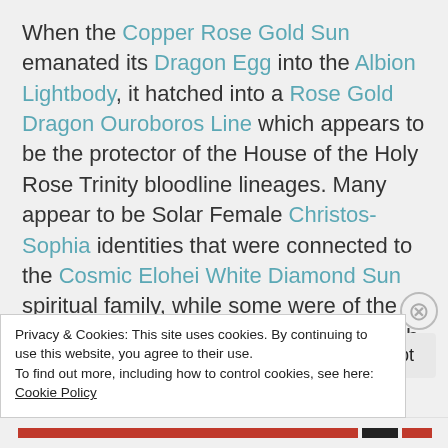When the Copper Rose Gold Sun emanated its Dragon Egg into the Albion Lightbody, it hatched into a Rose Gold Dragon Ouroboros Line which appears to be the protector of the House of the Holy Rose Trinity bloodline lineages. Many appear to be Solar Female Christos-Sophia identities that were connected to the Cosmic Elohei White Diamond Sun spiritual family, while some were of the original Lyran Temples and Cathars, with direct Red Rose or original Ruby Sun DNA RH solar factors
Privacy & Cookies: This site uses cookies. By continuing to use this website, you agree to their use.
To find out more, including how to control cookies, see here: Cookie Policy